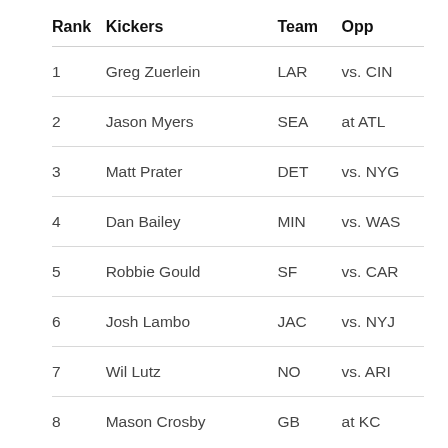| Rank | Kickers | Team | Opp |
| --- | --- | --- | --- |
| 1 | Greg Zuerlein | LAR | vs. CIN |
| 2 | Jason Myers | SEA | at ATL |
| 3 | Matt Prater | DET | vs. NYG |
| 4 | Dan Bailey | MIN | vs. WAS |
| 5 | Robbie Gould | SF | vs. CAR |
| 6 | Josh Lambo | JAC | vs. NYJ |
| 7 | Wil Lutz | NO | vs. ARI |
| 8 | Mason Crosby | GB | at KC |